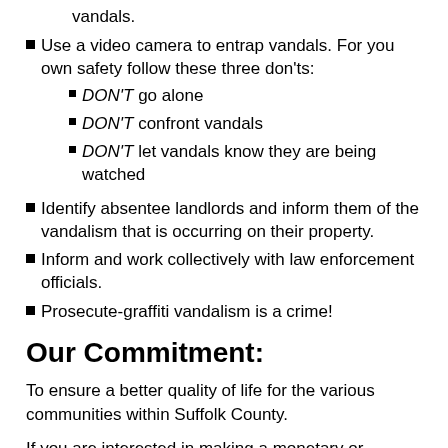vandals.
Use a video camera to entrap vandals. For you own safety follow these three don'ts:
DON'T go alone
DON'T confront vandals
DON'T let vandals know they are being watched
Identify absentee landlords and inform them of the vandalism that is occurring on their property.
Inform and work collectively with law enforcement officials.
Prosecute-graffiti vandalism is a crime!
Our Commitment:
To ensure a better quality of life for the various communities within Suffolk County.
If you are interested in making a monetary or material donation, need additional product information, would like to learn effective landscaping techniques, or wish to inform us